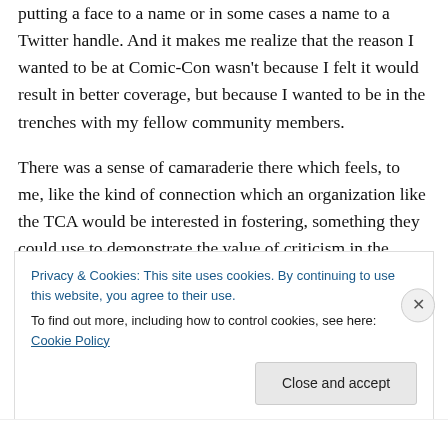putting a face to a name or in some cases a name to a Twitter handle. And it makes me realize that the reason I wanted to be at Comic-Con wasn't because I felt it would result in better coverage, but because I wanted to be in the trenches with my fellow community members.
There was a sense of camaraderie there which feels, to me, like the kind of connection which an organization like the TCA would be interested in fostering, something they could use to demonstrate the value of criticism in the twenty-first century and something which could spurn further interaction and discussion. However, this is where
Privacy & Cookies: This site uses cookies. By continuing to use this website, you agree to their use.
To find out more, including how to control cookies, see here: Cookie Policy
Close and accept